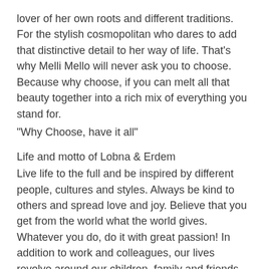lover of her own roots and different traditions. For the stylish cosmopolitan who dares to add that distinctive detail to her way of life. That's why Melli Mello will never ask you to choose. Because why choose, if you can melt all that beauty together into a rich mix of everything you stand for.
"Why Choose, have it all"
Life and motto of Lobna & Erdem
Live life to the full and be inspired by different people, cultures and styles. Always be kind to others and spread love and joy. Believe that you get from the world what the world gives. Whatever you do, do it with great passion! In addition to work and colleagues, our lives revolve around our children, family and friends. They are the center of our universe.
Melli Mello may have been created by Lobna and marketed by Erdem, today Melli Mello is an absolute